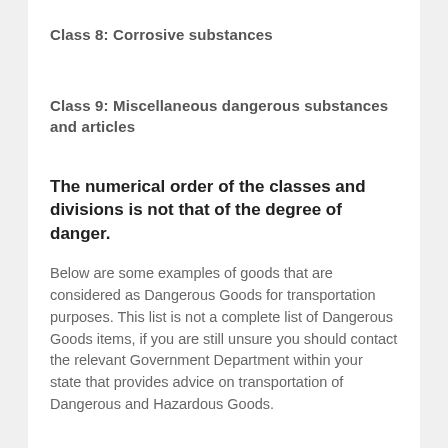Class 8: Corrosive substances
Class 9: Miscellaneous dangerous substances and articles
The numerical order of the classes and divisions is not that of the degree of danger.
Below are some examples of goods that are considered as Dangerous Goods for transportation purposes. This list is not a complete list of Dangerous Goods items, if you are still unsure you should contact the relevant Government Department within your state that provides advice on transportation of Dangerous and Hazardous Goods.